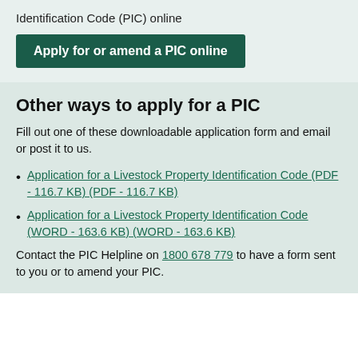Identification Code (PIC) online
Apply for or amend a PIC online
Other ways to apply for a PIC
Fill out one of these downloadable application form and email or post it to us.
Application for a Livestock Property Identification Code (PDF - 116.7 KB) (PDF - 116.7 KB)
Application for a Livestock Property Identification Code (WORD - 163.6 KB) (WORD - 163.6 KB)
Contact the PIC Helpline on 1800 678 779 to have a form sent to you or to amend your PIC.